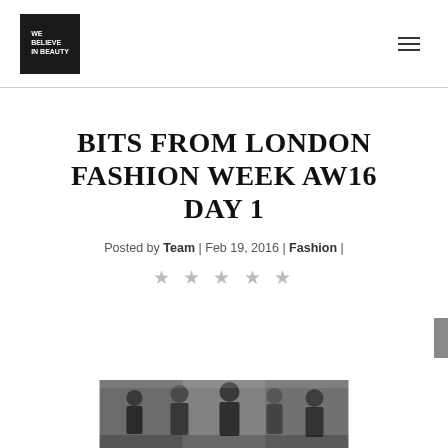WE BELIEVE IN BEAUTY
BITS FROM LONDON FASHION WEEK AW16 DAY 1
Posted by Team | Feb 19, 2016 | Fashion |
[Figure (other): Five star rating icons (empty/outline stars)]
[Figure (photo): Street style photo from London Fashion Week showing people outside a building]